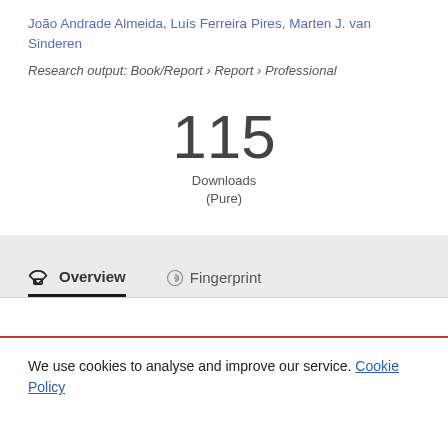João Andrade Almeida, Luís Ferreira Pires, Marten J. van Sinderen
Research output: Book/Report › Report › Professional
115
Downloads
(Pure)
Overview
Fingerprint
We use cookies to analyse and improve our service. Cookie Policy